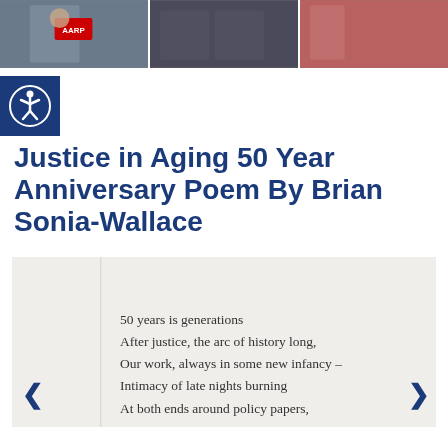[Figure (photo): Three photographs side by side showing groups of people at what appears to be an event, one person holding an AARP sign]
[Figure (logo): Accessibility icon: person in circle on dark blue square background]
Justice in Aging 50 Year Anniversary Poem By Brian Sonia-Wallace
50 years is generations
After justice, the arc of history long,
Our work, always in some new infancy –
Intimacy of late nights burning
At both ends around policy papers,